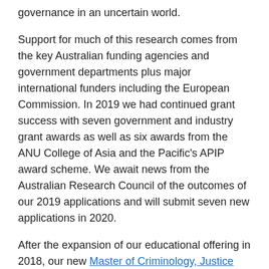governance in an uncertain world.
Support for much of this research comes from the key Australian funding agencies and government departments plus major international funders including the European Commission. In 2019 we had continued grant success with seven government and industry grant awards as well as six awards from the ANU College of Asia and the Pacific's APIP award scheme. We await news from the Australian Research Council of the outcomes of our 2019 applications and will submit seven new applications in 2020.
After the expansion of our educational offering in 2018, our new Master of Criminology, Justice and Regulation (MCJR) entered its second year in 2019. With the harmonisation of the University's masters degrees, the new degree has been restructured to be a 72-credit single year masters degree with the option to continue into an advanced masters with a